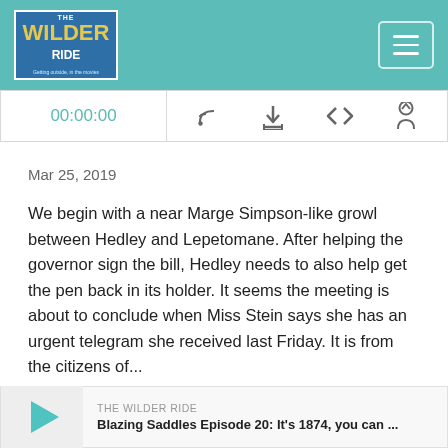[Figure (logo): The Wilder Ride podcast logo in blue and gold on white background]
[Figure (screenshot): Hamburger menu button in top right header]
[Figure (screenshot): Audio player bar showing 00:00:00 with RSS, download, embed, and share icons]
Mar 25, 2019
We begin with a near Marge Simpson-like growl between Hedley and Lepetomane. After helping the governor sign the bill, Hedley needs to also help get the pen back in its holder. It seems the meeting is about to conclude when Miss Stein says she has an urgent telegram she received last Friday. It is from the citizens of...
Read More
Blazing Saddles Episode 20: It's 1874, you can sue her!
THE WILDER RIDE
Blazing Saddles Episode 20: It's 1874, you can ...